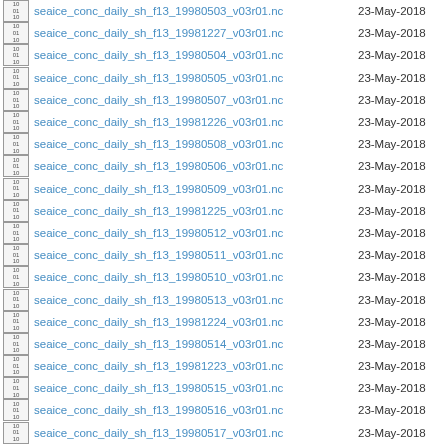seaice_conc_daily_sh_f13_19980503_v03r01.nc  23-May-2018
seaice_conc_daily_sh_f13_19981227_v03r01.nc  23-May-2018
seaice_conc_daily_sh_f13_19980504_v03r01.nc  23-May-2018
seaice_conc_daily_sh_f13_19980505_v03r01.nc  23-May-2018
seaice_conc_daily_sh_f13_19980507_v03r01.nc  23-May-2018
seaice_conc_daily_sh_f13_19981226_v03r01.nc  23-May-2018
seaice_conc_daily_sh_f13_19980508_v03r01.nc  23-May-2018
seaice_conc_daily_sh_f13_19980506_v03r01.nc  23-May-2018
seaice_conc_daily_sh_f13_19980509_v03r01.nc  23-May-2018
seaice_conc_daily_sh_f13_19981225_v03r01.nc  23-May-2018
seaice_conc_daily_sh_f13_19980512_v03r01.nc  23-May-2018
seaice_conc_daily_sh_f13_19980511_v03r01.nc  23-May-2018
seaice_conc_daily_sh_f13_19980510_v03r01.nc  23-May-2018
seaice_conc_daily_sh_f13_19980513_v03r01.nc  23-May-2018
seaice_conc_daily_sh_f13_19981224_v03r01.nc  23-May-2018
seaice_conc_daily_sh_f13_19980514_v03r01.nc  23-May-2018
seaice_conc_daily_sh_f13_19981223_v03r01.nc  23-May-2018
seaice_conc_daily_sh_f13_19980515_v03r01.nc  23-May-2018
seaice_conc_daily_sh_f13_19980516_v03r01.nc  23-May-2018
seaice_conc_daily_sh_f13_19980517_v03r01.nc  23-May-2018